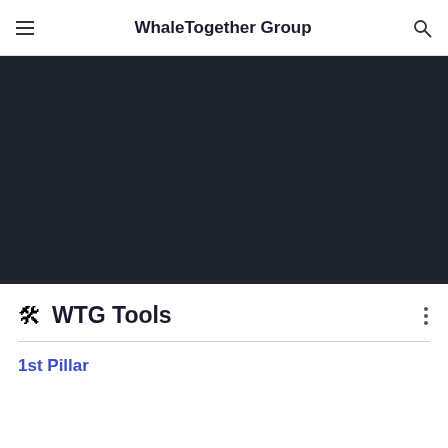WhaleTogether Group
[Figure (other): Dark navy/charcoal background banner image area]
🛠 WTG Tools
1st Pillar